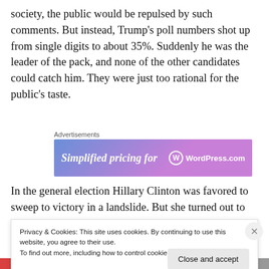society, the public would be repulsed by such comments. But instead, Trump's poll numbers shot up from single digits to about 35%. Suddenly he was the leader of the pack, and none of the other candidates could catch him. They were just too rational for the public's taste.
[Figure (other): Advertisements banner: WordPress.com 'Simplified pricing for' ad with purple/blue gradient background]
In the general election Hillary Clinton was favored to sweep to victory in a landslide. But she turned out to be
Privacy & Cookies: This site uses cookies. By continuing to use this website, you agree to their use.
To find out more, including how to control cookies, see here: Cookie Policy
Close and accept